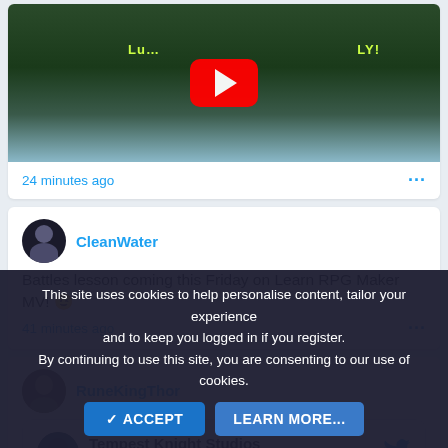[Figure (screenshot): YouTube video thumbnail with play button, dark green background with text 'Lu...LY!']
24 minutes ago
CleanWater
Battles lesson coming this Friday on Learn RPG Maker MV! 😉
41 minutes ago
RuneKingThor
Tempest Knight Studios @TKnightStudios · Follow
Meet Polaris, the main protagonist of our game,
This site uses cookies to help personalise content, tailor your experience and to keep you logged in if you register. By continuing to use this site, you are consenting to our use of cookies.
✓ ACCEPT
LEARN MORE...